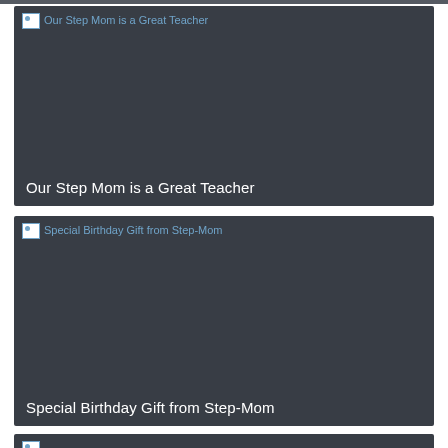[Figure (screenshot): Dark card with broken image placeholder showing alt text 'Our Step Mom is a Great Teacher' in blue, with white title text at bottom: 'Our Step Mom is a Great Teacher']
[Figure (screenshot): Dark card with broken image placeholder showing alt text 'Special Birthday Gift from Step-Mom' in blue, with white title text at bottom: 'Special Birthday Gift from Step-Mom']
[Figure (screenshot): Partially visible dark card at bottom of page]